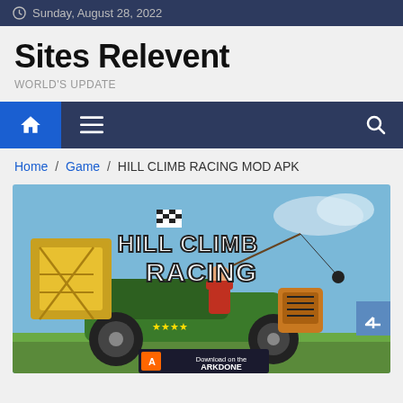Sunday, August 28, 2022
Sites Relevent
WORLD'S UPDATE
Home / Game / HILL CLIMB RACING MOD APK
[Figure (screenshot): Hill Climb Racing game promotional image showing an off-road vehicle with a character driving, yellow construction equipment in background, 'HILL CLIMB RACING' text logo, and ARKDONE download banner at bottom]